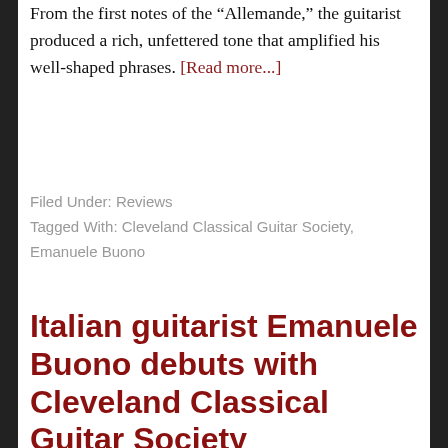From the first notes of the “Allemande,” the guitarist produced a rich, unfettered tone that amplified his well-shaped phrases. [Read more...]
Filed Under: Reviews
Tagged With: Cleveland Classical Guitar Society, Emanuele Buono
Italian guitarist Emanuele Buono debuts with Cleveland Classical Guitar Society
March 16, 2021 by Mike Telin